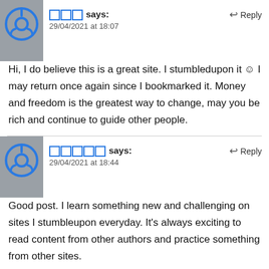□□□ says: 29/04/2021 at 18:07
Hi, I do believe this is a great site. I stumbledupon it ☺ I may return once again since I bookmarked it. Money and freedom is the greatest way to change, may you be rich and continue to guide other people.
□□□□□ says: 29/04/2021 at 18:44
Good post. I learn something new and challenging on sites I stumbleupon everyday. It's always exciting to read content from other authors and practice something from other sites.
□□□□□ says: